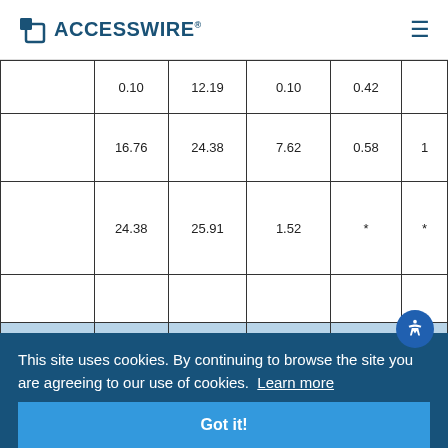ACCESSWIRE
|  | Col1 | Col2 | Col3 | Col4 | Col5 |
| --- | --- | --- | --- | --- | --- |
|  | 0.10 | 12.19 | 0.10 | 0.42 |  |
|  | 16.76 | 24.38 | 7.62 | 0.58 | 1 |
|  | 24.38 | 25.91 | 1.52 | * | * |
|  |  |  |  |  |  |
|  | 25.91 | 39.62 | 10.07 | 0.99 | 2 |
|  |  |  |  | * | * |
|  | 42.67 | 62.48 | 19.81 | 0.30 | 2 |
|  | 67.06 | 102.11 | 35.05 | 1.24 | 3 |